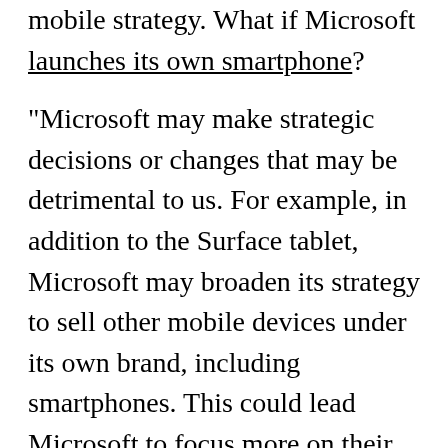mobile strategy. What if Microsoft launches its own smartphone?
"Microsoft may make strategic decisions or changes that may be detrimental to us. For example, in addition to the Surface tablet, Microsoft may broaden its strategy to sell other mobile devices under its own brand, including smartphones. This could lead Microsoft to focus more on their own devices and less on mobile devices of other manufacturers that operate on the Windows Phone platform, including Nokia," the filing said.
For the moment, Nokia remains a big fish in the very small pond of Windows Phone, currently shifting the majority of devices running the OS